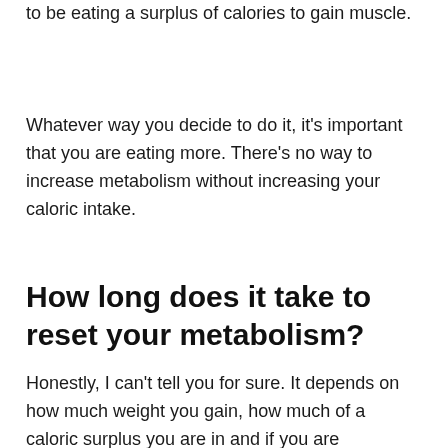to be eating a surplus of calories to gain muscle.
Whatever way you decide to do it, it's important that you are eating more. There's no way to increase metabolism without increasing your caloric intake.
How long does it take to reset your metabolism?
Honestly, I can't tell you for sure. It depends on how much weight you gain, how much of a caloric surplus you are in and if you are